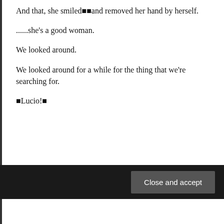And that, she smiled■■and removed her hand by herself.
......she’s a good woman.
We looked around.
We looked around for a while for the thing that we’re searching for.
■Lucio!■
Privacy & Cookies: This site uses cookies. By continuing to use this website, you agree to their use.
To find out more, including how to control cookies, see here: Our Cookie Policy
Close and accept